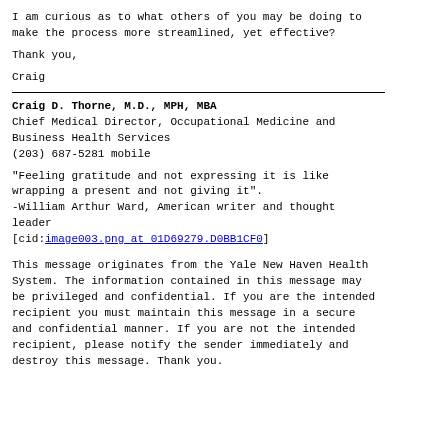I am curious as to what others of you may be doing to make the process more streamlined, yet effective?
Thank you,
Craig
Craig D. Thorne, M.D., MPH, MBA
Chief Medical Director, Occupational Medicine and Business Health Services
(203) 687-5281 mobile
"Feeling gratitude and not expressing it is like wrapping a present and not giving it".
-William Arthur Ward, American writer and thought leader
[cid:image003.png at 01D69279.D0BB1CF0]
This message originates from the Yale New Haven Health System. The information contained in this message may be privileged and confidential. If you are the intended recipient you must maintain this message in a secure and confidential manner. If you are not the intended recipient, please notify the sender immediately and destroy this message. Thank you.